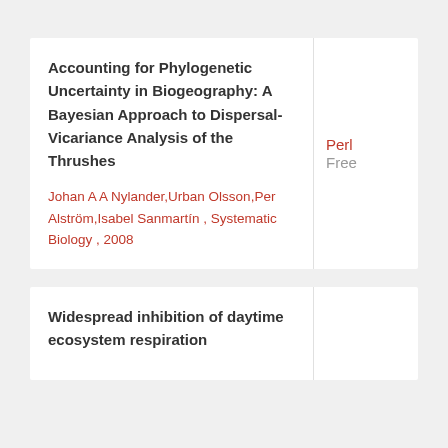Accounting for Phylogenetic Uncertainty in Biogeography: A Bayesian Approach to Dispersal-Vicariance Analysis of the Thrushes
Johan A A Nylander,Urban Olsson,Per Alström,Isabel Sanmartín ,  Systematic Biology ,  2008
Perl
Free
Widespread inhibition of daytime ecosystem respiration